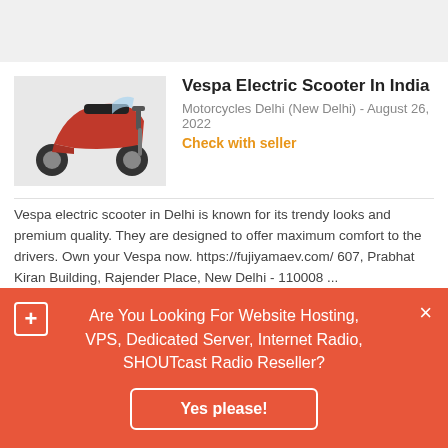[Figure (photo): Gray banner/header area at top of page]
[Figure (photo): Red Vespa electric scooter thumbnail image]
Vespa Electric Scooter In India
Motorcycles Delhi (New Delhi) - August 26, 2022
Check with seller
Vespa electric scooter in Delhi is known for its trendy looks and premium quality. They are designed to offer maximum comfort to the drivers. Own your Vespa now. https://fujiyamaev.com/ 607, Prabhat Kiran Building, Rajender Place, New Delhi - 110008 ...
[Figure (photo): Red and white thumbnail image for bike rental listing]
bike on rent in Lucknow ,bike rental near me, bike rent in lucknow
Are You Looking For Website Hosting, VPS, Dedicated Server, Internet Radio, SHOUTcast Radio Reseller?
Yes please!